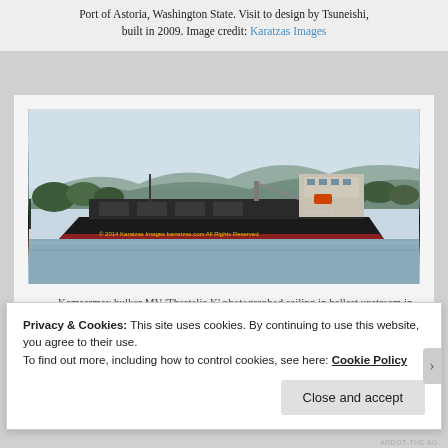Port of Astoria, Washington State. Visit to design by Tsuneishi, built in 2009. Image credit: Karatzas Images
[Figure (photo): Kamsarmax bulk carrier MV 'Thestelia K' sailing in ballast upstream on the Columbia River, mountains and trees in background, waterway in foreground.]
— Kamsarmax bulker MV 'Thestelia K' photographed sailing in ballast upstream in the Columbia River, at the
Privacy & Cookies: This site uses cookies. By continuing to use this website, you agree to their use.
To find out more, including how to control cookies, see here: Cookie Policy